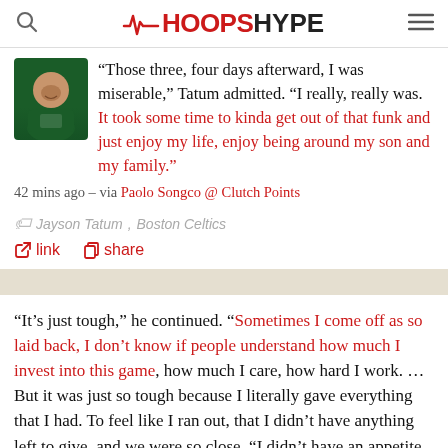HoopsHype
“Those three, four days afterward, I was miserable,” Tatum admitted. “I really, really was. It took some time to kinda get out of that funk and just enjoy my life, enjoy being around my son and my family.” 42 mins ago – via Paolo Songco @ Clutch Points
Jayson Tatum, Boston Celtics
link  share
“It’s just tough,” he continued. “Sometimes I come off as so laid back, I don’t know if people understand how much I invest into this game, how much I care, how hard I work. … But it was just so tough because I literally gave everything that I had. To feel like I ran out, that I didn’t have anything left to give, and we were so close. “I didn’t have an appetite. I didn’t want to talk to anybody. I didn’t want to go anywhere. I was just in my house for like three